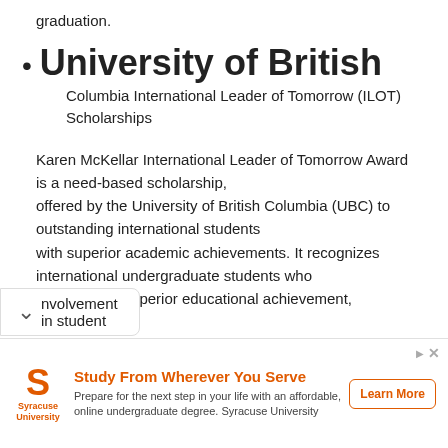graduation.
University of British
Columbia International Leader of Tomorrow (ILOT) Scholarships
Karen McKellar International Leader of Tomorrow Award is a need-based scholarship, offered by the University of British Columbia (UBC) to outstanding international students with superior academic achievements. It recognizes international undergraduate students who demonstrate superior educational achievement, leadership involvement in student
[Figure (other): Advertisement banner for Syracuse University: Study From Wherever You Serve. Prepare for the next step in your life with an affordable, online undergraduate degree. Syracuse University. Learn More button.]